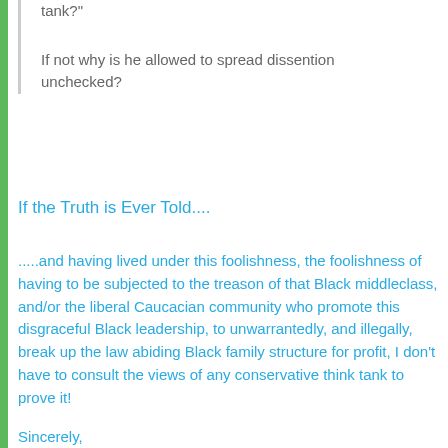tank?"
If not why is he allowed to spread dissention unchecked?
If the Truth is Ever Told....
.....and having lived under this foolishness, the foolishness of having to be subjected to the treason of that Black middleclass, and/or the liberal Caucacian community who promote this disgraceful Black leadership, to unwarrantedly, and illegally, break up the law abiding Black family structure for profit, I don't have to consult the views of any conservative think tank to prove it!
Sincerely,